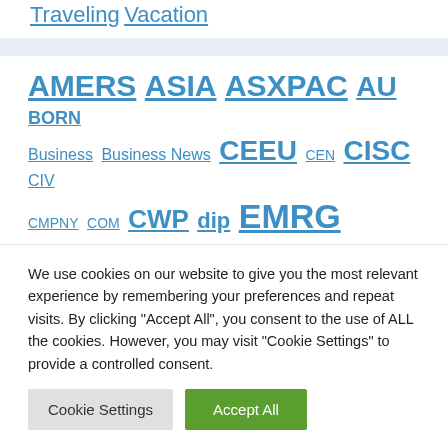Traveling
Vacation
[Figure (other): Tag cloud with links: AMERS, ASIA, ASXPAC, AU, BORN, Business, Business News, CEEU, CEN, CISC, CIV, CMPNY, COM, CWP, dip, EMRG, europe]
We use cookies on our website to give you the most relevant experience by remembering your preferences and repeat visits. By clicking “Accept All”, you consent to the use of ALL the cookies. However, you may visit "Cookie Settings" to provide a controlled consent.